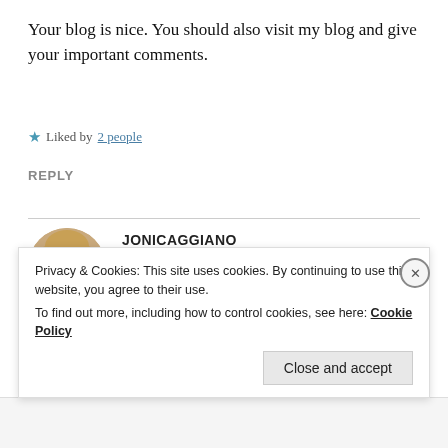Your blog is nice. You should also visit my blog and give your important comments.
★ Liked by 2 people
REPLY
JONICAGGIANO
Sep 8, 2020 at 10:31 pm
Privacy & Cookies: This site uses cookies. By continuing to use this website, you agree to their use.
To find out more, including how to control cookies, see here: Cookie Policy
Close and accept